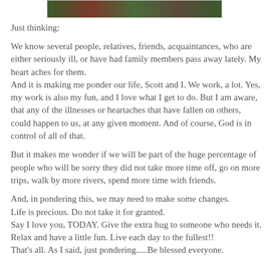[Figure (photo): Partial photo strip showing a colorful outdoor scene at the top of the page]
Just thinking:
We know several people, relatives, friends, acquaintances, who are either seriously ill, or have had family members pass away lately. My heart aches for them.
And it is making me ponder our life, Scott and I. We work, a lot. Yes, my work is also my fun, and I love what I get to do. But I am aware, that any of the illnesses or heartaches that have fallen on others, could happen to us, at any given moment. And of course, God is in control of all of that.
But it makes me wonder if we will be part of the huge percentage of people who will be sorry they did not take more time off, go on more trips, walk by more rivers, spend more time with friends.
And, in pondering this, we may need to make some changes.
Life is precious. Do not take it for granted.
Say I love you, TODAY. Give the extra hug to someone who needs it. Relax and have a little fun. Live each day to the fullest!!
That's all. As I said, just pondering.....Be blessed everyone.